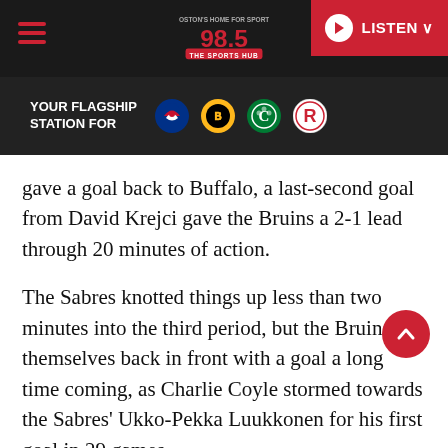[Figure (screenshot): 98.5 The Sports Hub radio station website header with logo, hamburger menu, LISTEN button, and flagship station bar showing Patriots, Bruins, Celtics, and Revolution logos]
gave a goal back to Buffalo, a last-second goal from David Krejci gave the Bruins a 2-1 lead through 20 minutes of action.
The Sabres knotted things up less than two minutes into the third period, but the Bruins put themselves back in front with a goal a long time coming, as Charlie Coyle stormed towards the Sabres' Ukko-Pekka Luukkonen for his first goal in 29 games.